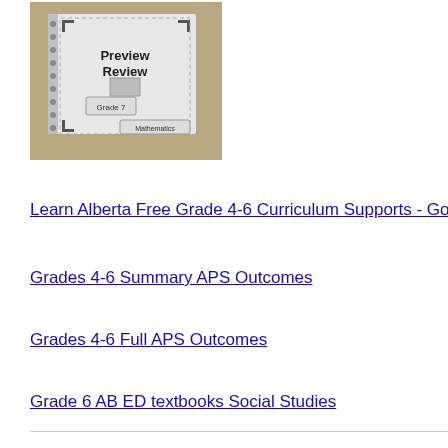[Figure (photo): Photo of a Grade 7 Mathematics Preview Review textbook/workbook lying on a surface, with a spiral binding visible on the left side. The cover shows geometric corner designs and text reading 'Preview Review', 'Grade 7', 'Mathematics'.]
Learn Alberta Free Grade 4-6 Curriculum Supports - Go to the T
Grades 4-6 Summary APS Outcomes
Grades 4-6 Full APS Outcomes
Grade 6 AB ED textbooks Social Studies